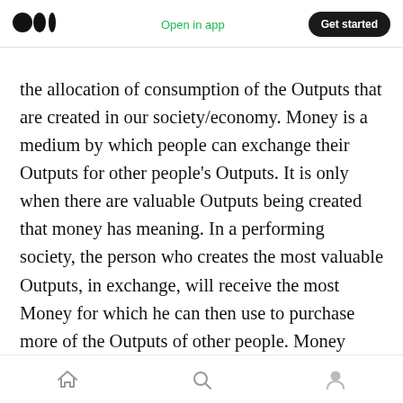Medium logo | Open in app | Get started
the allocation of consumption of the Outputs that are created in our society/economy. Money is a medium by which people can exchange their Outputs for other people's Outputs. It is only when there are valuable Outputs being created that money has meaning. In a performing society, the person who creates the most valuable Outputs, in exchange, will receive the most Money for which he can then use to purchase more of the Outputs of other people. Money describes the relative value of the Outputs created and helps facilitate the allocation of how
Home | Search | Profile